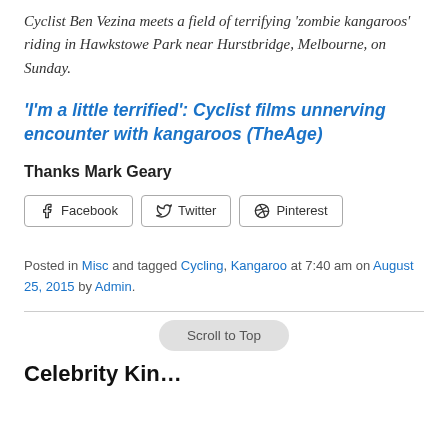Cyclist Ben Vezina meets a field of terrifying 'zombie kangaroos' riding in Hawkstowe Park near Hurstbridge, Melbourne, on Sunday.
'I'm a little terrified': Cyclist films unnerving encounter with kangaroos (TheAge)
Thanks Mark Geary
Facebook  Twitter  Pinterest
Posted in Misc and tagged Cycling, Kangaroo at 7:40 am on August 25, 2015 by Admin.
Scroll to Top
Celebrity Kin…